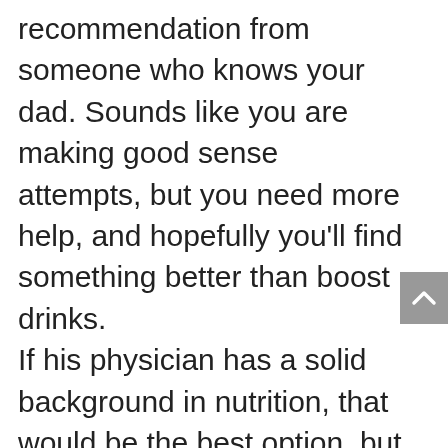recommendation from someone who knows your dad. Sounds like you are making good sense attempts, but you need more help, and hopefully you'll find something better than boost drinks. If his physician has a solid background in nutrition, that would be the best option, but often physicians don't provide any nutrition advice–which is truly sad. AS a backup option, I'd suggest seeing a nutritionist, preferably one with a